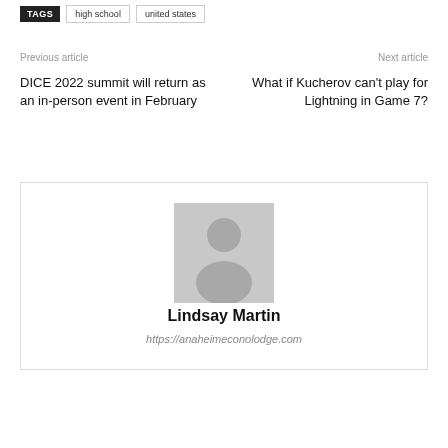TAGS  high school  united states
Previous article
Next article
DICE 2022 summit will return as an in-person event in February
What if Kucherov can't play for Lightning in Game 7?
[Figure (photo): Generic user avatar placeholder — gray silhouette of a person on light gray background]
Lindsay Martin
https://anaheimeconolodge.com